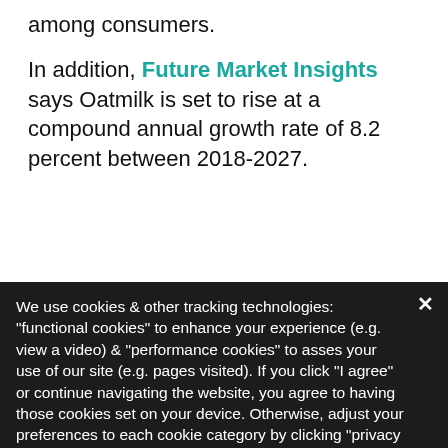among consumers.
In addition, Future Market Insights says Oatmilk is set to rise at a compound annual growth rate of 8.2 percent between 2018-2027.
The repo… annual growth … oatmilk can't b… short… Kingdom… the launch of … create an oat… e this spring.
We use cookies & other tracking technologies: "functional cookies" to enhance your experience (e.g. view a video) & "performance cookies" to asses your use of our site (e.g. pages visited). If you click "I agree" or continue navigating the website, you agree to having those cookies set on your device. Otherwise, adjust your preferences to each cookie category by clicking "privacy preferences".
Privacy Preferences
I Agree
Oatmilks creamy base and fiber-rich ingredients have made it a desirable beverage for both milk and non-milk drinkers, but its ve… vor is what could really make this product a popular commodity in the rising